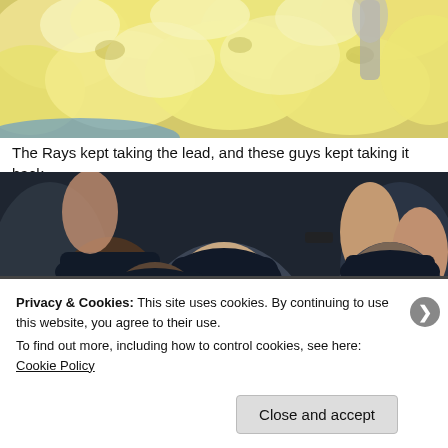[Figure (photo): Close-up photo of mashed potatoes in a bowl, pale yellow, fluffy texture with a serving utensil visible at the top right]
The Rays kept taking the lead, and these guys kept taking it back.
[Figure (photo): Photo of New York Yankees baseball players celebrating in the dugout, wearing dark navy caps and helmets with NY logo, raising hands]
Privacy & Cookies: This site uses cookies. By continuing to use this website, you agree to their use.
To find out more, including how to control cookies, see here: Cookie Policy
Close and accept